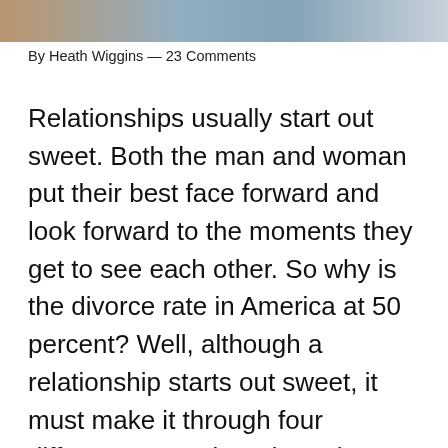[Figure (photo): Partial photo of people at the top of the page, cropped]
By Heath Wiggins — 23 Comments
Relationships usually start out sweet. Both the man and woman put their best face forward and look forward to the moments they get to see each other. So why is the divorce rate in America at 50 percent? Well, although a relationship starts out sweet, it must make it through four different stages in order to last. No one should take these four stages of a relationship lightly. Its success depends on knowing how to navigate them for a strong future together.